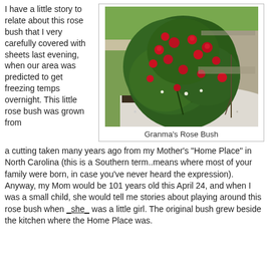I have a little story to relate about this rose bush that I very carefully covered with sheets last evening, when our area was predicted to get freezing temps overnight. This little rose bush was grown from
[Figure (photo): A rose bush with red blooms growing in a white gravel garden bed beside a wall, with green lawn in the background.]
Granma's Rose Bush
a cutting taken many years ago from my Mother's "Home Place" in North Carolina (this is a Southern term..means where most of your family were born, in case you've never heard the expression). Anyway, my Mom would be 101 years old this April 24, and when I was a small child, she would tell me stories about playing around this rose bush when _she_ was a little girl. The original bush grew beside the kitchen where the Home Place was.